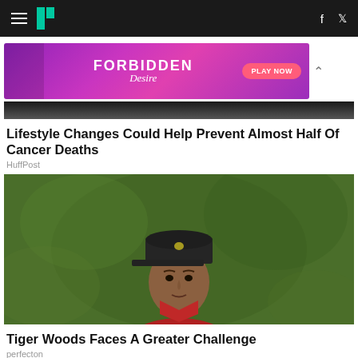HuffPost navigation bar with hamburger menu, logo, Facebook and Twitter icons
[Figure (photo): Advertisement banner for 'Forbidden Desire' game with Play Now button, purple gradient background with female figure illustration]
[Figure (photo): Dark photo strip at top (partial image of previous article)]
Lifestyle Changes Could Help Prevent Almost Half Of Cancer Deaths
HuffPost
[Figure (photo): Photo of Tiger Woods wearing a dark cap and red polo shirt, looking upward against a green background]
Tiger Woods Faces A Greater Challenge
perfecton